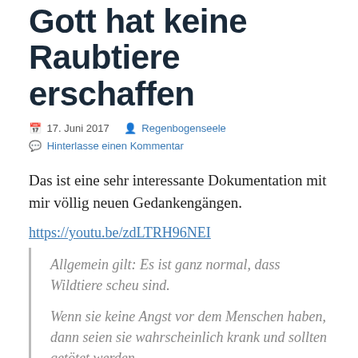Gott hat keine Raubtiere erschaffen
17. Juni 2017  Regenbogenseele
Hinterlasse einen Kommentar
Das ist eine sehr interessante Dokumentation mit mir völlig neuen Gedankengängen.
https://youtu.be/zdLTRH96NEI
Allgemein gilt: Es ist ganz normal, dass Wildtiere scheu sind.
Wenn sie keine Angst vor dem Menschen haben, dann seien sie wahrscheinlich krank und sollten getötet werden.